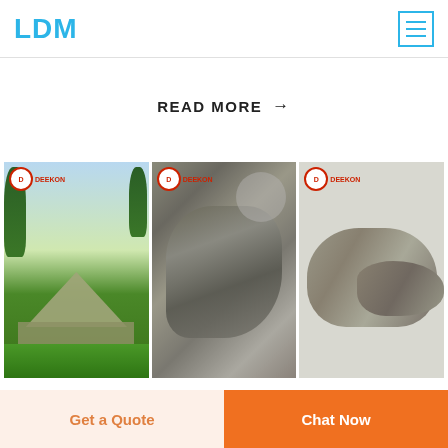LDM
READ MORE →
[Figure (photo): Three product photos showing: (1) a camouflage military tent set up on grass, (2) camouflage fabric material, (3) a camouflage sleeping bag. Each image has a DEEKON brand logo/badge in the top-left corner.]
FIVE NIGHTS AT FREDDYS PLUSH | ETSY
Get a Quote
Chat Now